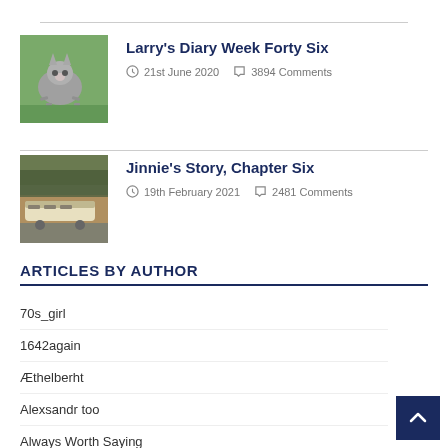[Figure (photo): Thumbnail image of a cat on grass (partially visible at top)]
Larry’s Diary Week Forty Six
21st June 2020  3894 Comments
[Figure (photo): Thumbnail image of a train at a station platform]
Jinnie’s Story, Chapter Six
19th February 2021  2481 Comments
ARTICLES BY AUTHOR
70s_girl
1642again
Æthelberht
Alexsandr too
Always Worth Saying